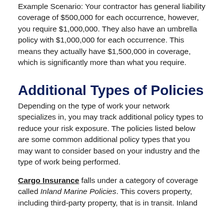Example Scenario: Your contractor has general liability coverage of $500,000 for each occurrence, however, you require $1,000,000. They also have an umbrella policy with $1,000,000 for each occurrence. This means they actually have $1,500,000 in coverage, which is significantly more than what you require.
Additional Types of Policies
Depending on the type of work your network specializes in, you may track additional policy types to reduce your risk exposure. The policies listed below are some common additional policy types that you may want to consider based on your industry and the type of work being performed.
Cargo Insurance falls under a category of coverage called Inland Marine Policies. This covers property, including third-party property, that is in transit. Inland